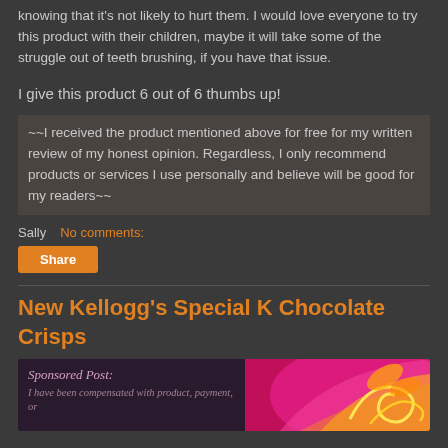knowing that it's not likely to hurt them. I would love everyone to try this product with their children, maybe it will take some of the struggle out of teeth brushing, if you have that issue.
I give this product 6 out of 6 thumbs up!
~~I received the product mentioned above for free for my written review of my honest opinion. Regardless, I only recommend products or services I use personally and believe will be good for my readers~~
Sally   No comments:
Share
New Kellogg's Special K Chocolate Crisps
[Figure (illustration): Sponsored Post banner image with decorative swirl design in pink/yellow on dark background, with text 'Sponsored Post: I have been compensated with product, payment, or']